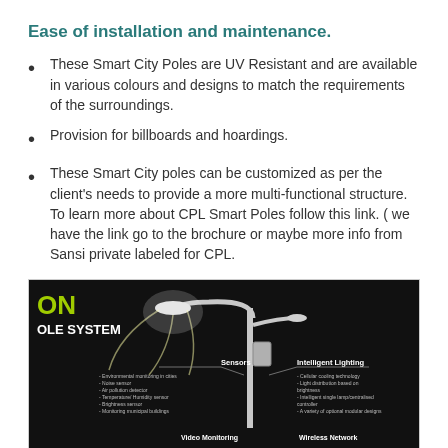Ease of installation and maintenance.
These Smart City Poles are UV Resistant and are available in various colours and designs to match the requirements of the surroundings.
Provision for billboards and hoardings.
These Smart City poles can be customized as per the client’s needs to provide a more multi-functional structure. To learn more about CPL Smart Poles follow this link. ( we have the link go to the brochure or maybe more info from Sansi private labeled for CPL.
[Figure (photo): Smart city pole system diagram on black background showing a double-arm street lamp with labels for Sensors, Intelligent Lighting, Video Monitoring, and Wireless Network categories. Text reads 'ON OLE SYSTEM' in top left with green accent.]